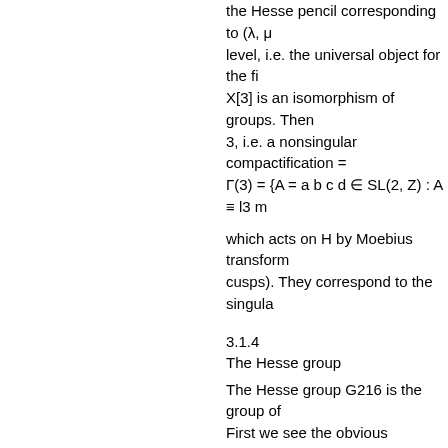the Hesse pencil corresponding to (λ, μ level, i.e. the universal object for the fi X[3] is an isomorphism of groups. Then 3, i.e. a nonsingular compactification = Γ(3) = {A = a b c d ∈ SL(2, Z) : A ≡ l3 m
which acts on H by Moebius transform cusps). They correspond to the singula
3.1.4
The Hesse group
The Hesse group G216 is the group of First we see the obvious symmetries ge : [t0 , t1 , t2 ] → [t2 , t0 , t1 ].
2
They define a projective representation group law by taking the origin to be [0 translation automorphism by the point [ the transformation (3.12) is the translat of order 216 isomorphic to the semi-dire natural linear representation. Proof. Le This defines a homomorphism G216 invariant. In particular, it leaves invar